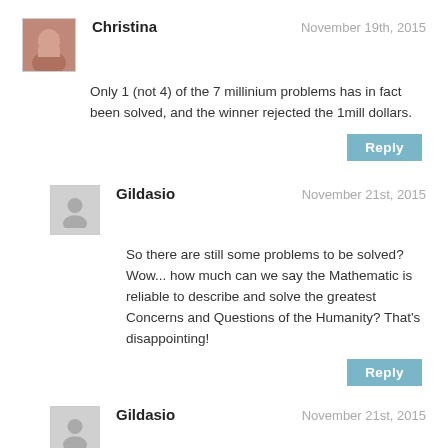Christina — November 19th, 2015
Only 1 (not 4) of the 7 millinium problems has in fact been solved, and the winner rejected the 1mill dollars.
Reply
Gildasio — November 21st, 2015
So there are still some problems to be solved? Wow... how much can we say the Mathematic is reliable to describe and solve the greatest Concerns and Questions of the Humanity? That's disappointing!
Reply
Gildasio — November 21st, 2015